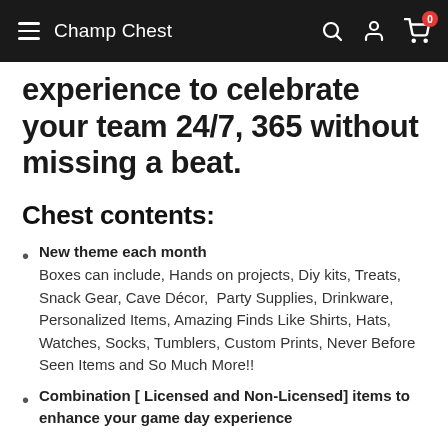Champ Chest
experience to celebrate your team 24/7, 365 without missing a beat.
Chest contents:
New theme each month
Boxes can include, Hands on projects, Diy kits, Treats, Snack Gear, Cave Décor,  Party Supplies, Drinkware, Personalized Items, Amazing Finds Like Shirts, Hats, Watches, Socks, Tumblers, Custom Prints, Never Before Seen Items and So Much More!!
Combination [ Licensed and Non-Licensed] items to enhance your game day experience